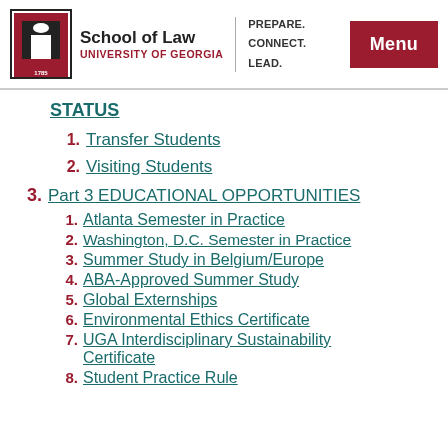School of Law — University of Georgia — PREPARE. CONNECT. LEAD. — Menu
STATUS
1. Transfer Students
2. Visiting Students
3. Part 3 EDUCATIONAL OPPORTUNITIES
1. Atlanta Semester in Practice
2. Washington, D.C. Semester in Practice
3. Summer Study in Belgium/Europe
4. ABA-Approved Summer Study
5. Global Externships
6. Environmental Ethics Certificate
7. UGA Interdisciplinary Sustainability Certificate
8. Student Practice Rule